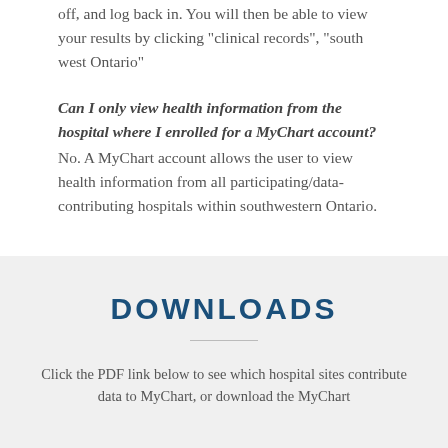off, and log back in. You will then be able to view your results by clicking "clinical records", "south west Ontario"
Can I only view health information from the hospital where I enrolled for a MyChart account?
No. A MyChart account allows the user to view health information from all participating/data-contributing hospitals within southwestern Ontario.
DOWNLOADS
Click the PDF link below to see which hospital sites contribute data to MyChart, or download the MyChart